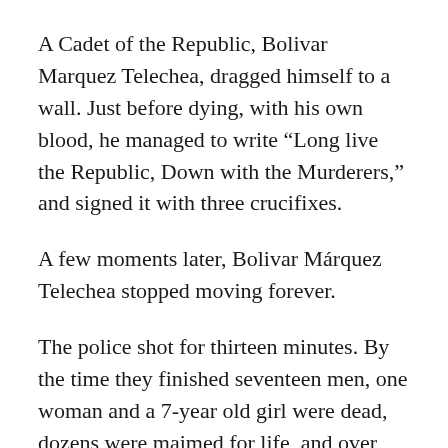A Cadet of the Republic, Bolivar Marquez Telechea, dragged himself to a wall. Just before dying, with his own blood, he managed to write “Long live the Republic, Down with the Murderers,” and signed it with three crucifixes.
A few moments later, Bolivar Márquez Telechea stopped moving forever.
The police shot for thirteen minutes. By the time they finished seventeen men, one woman and a 7-year old girl were dead, dozens were maimed for life, and over two hundred more were gravely wounded – moaning, crawling, bleeding, begging for mercy in the street.
The air seethed with gun smoke, as everyone moved in a fog of disbelief. The policemen swaggered about. Blood covered the entire scene. When the smoke